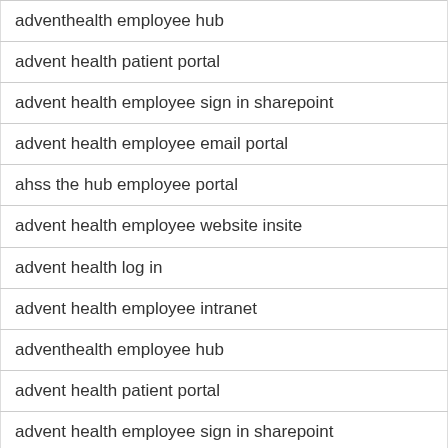adventhealth employee hub
advent health patient portal
advent health employee sign in sharepoint
advent health employee email portal
ahss the hub employee portal
advent health employee website insite
advent health log in
advent health employee intranet
adventhealth employee hub
advent health patient portal
advent health employee sign in sharepoint